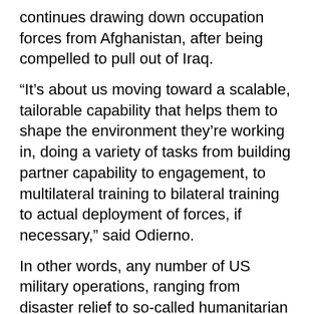continues drawing down occupation forces from Afghanistan, after being compelled to pull out of Iraq.
“It’s about us moving toward a scalable, tailorable capability that helps them to shape the environment they’re working in, doing a variety of tasks from building partner capability to engagement, to multilateral training to bilateral training to actual deployment of forces, if necessary,” said Odierno.
In other words, any number of US military operations, ranging from disaster relief to so-called humanitarian assistance, as well as training African troops, all serve as a means of “shaping the environment,” i.e., preparing the ground for direct US armed intervention.
In 2007, J. Peter Pham, a State Department advisor who has been a permanent member of the advisory